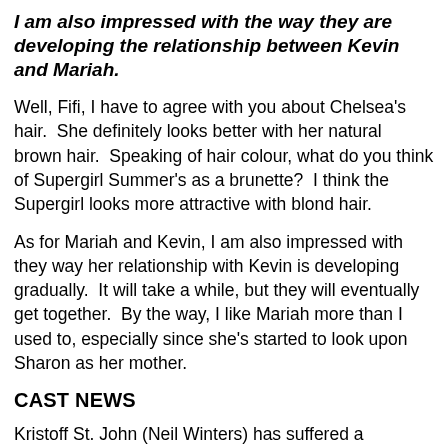I am also impressed with the way they are developing the relationship between Kevin and Mariah.
Well, Fifi, I have to agree with you about Chelsea's hair.  She definitely looks better with her natural brown hair.  Speaking of hair colour, what do you think of Supergirl Summer's as a brunette?  I think the Supergirl looks more attractive with blond hair.
As for Mariah and Kevin, I am also impressed with they way her relationship with Kevin is developing gradually.  It will take a while, but they will eventually get together.  By the way, I like Mariah more than I used to, especially since she's started to look upon Sharon as her mother.
CAST NEWS
Kristoff St. John (Neil Winters) has suffered a devastating loss.  His 24-year old son, Julian St. John, passed away on November 23, 2014..  Julian, an artist, took his own life after a long battle with severe depression and addiction.  He